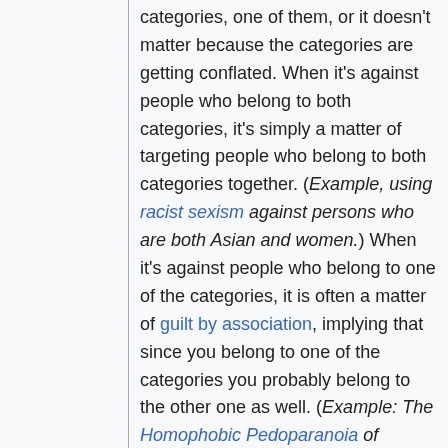categories, one of them, or it doesn't matter because the categories are getting conflated. When it's against people who belong to both categories, it's simply a matter of targeting people who belong to both categories together. (Example, using racist sexism against persons who are both Asian and women.) When it's against people who belong to one of the categories, it is often a matter of guilt by association, implying that since you belong to one of the categories you probably belong to the other one as well. (Example: The Homophobic Pedoparanoia of implying that homosexuals would be pedophiles.) When the categories are conflated, the distincition between the categories gets removed. (Example: homophobic pedoparanoia using a term such as